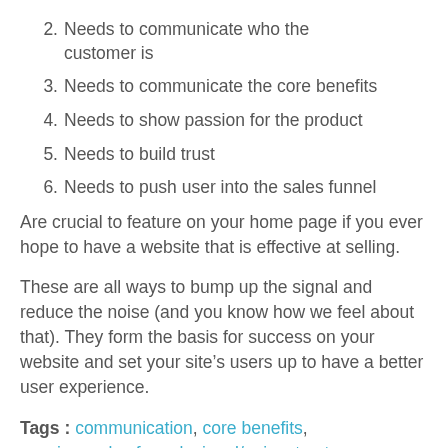2. Needs to communicate who the customer is
3. Needs to communicate the core benefits
4. Needs to show passion for the product
5. Needs to build trust
6. Needs to push user into the sales funnel
Are crucial to feature on your home page if you ever hope to have a website that is effective at selling.
These are all ways to bump up the signal and reduce the noise (and you know how we feel about that). They form the basis for success on your website and set your site’s users up to have a better user experience.
Tags : communication, core benefits, passion, sales funnel, signal/noise, trust